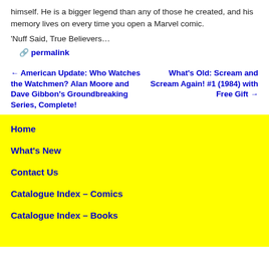himself. He is a bigger legend than any of those he created, and his memory lives on every time you open a Marvel comic.
'Nuff Said, True Believers…
🔗 permalink
← American Update: Who Watches the Watchmen? Alan Moore and Dave Gibbon's Groundbreaking Series, Complete!
What's Old: Scream and Scream Again! #1 (1984) with Free Gift →
Home
What's New
Contact Us
Catalogue Index – Comics
Catalogue Index – Books